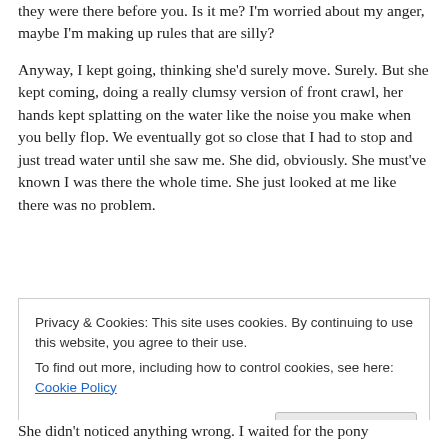they were there before you. Is it me? I'm worried about my anger, maybe I'm making up rules that are silly?
Anyway, I kept going, thinking she'd surely move. Surely. But she kept coming, doing a really clumsy version of front crawl, her hands kept splatting on the water like the noise you make when you belly flop. We eventually got so close that I had to stop and just tread water until she saw me. She did, obviously. She must've known I was there the whole time. She just looked at me like there was no problem.
Privacy & Cookies: This site uses cookies. By continuing to use this website, you agree to their use. To find out more, including how to control cookies, see here: Cookie Policy
Close and accept
She didn't noticed anything wrong. I waited for the pony